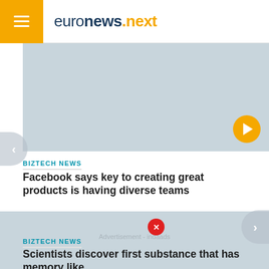euronews.next
[Figure (photo): Light blue-grey placeholder image area with a yellow play button circle in the bottom-right corner]
BIZTECH NEWS
Facebook says key to creating great products is having diverse teams
[Figure (other): Advertisement - indaads placeholder area with red X close button]
BIZTECH NEWS
Scientists discover first substance that has memory like